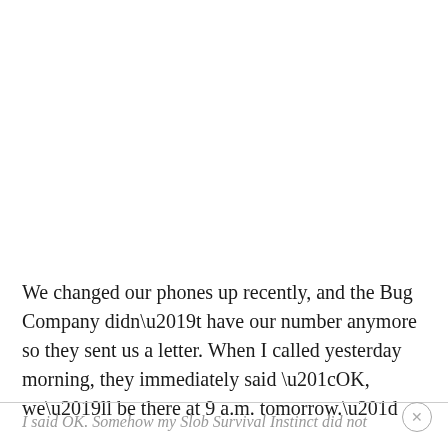We changed our phones up recently, and the Bug Company didn't have our number anymore so they sent us a letter. When I called yesterday morning, they immediately said “OK, we’ll be there at 9 a.m. tomorrow.”
I said OK. Somehow my Slob Survival Instinct did not